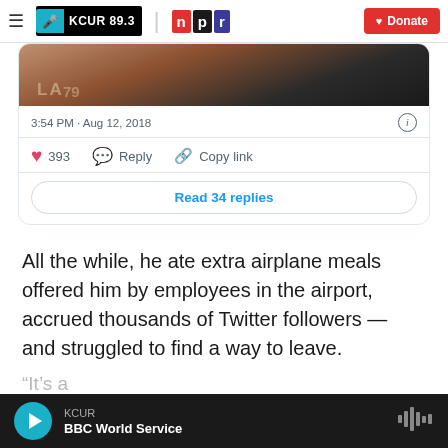KCUR 89.3 | npr | Donate
[Figure (screenshot): Partial Twitter/X post screenshot showing a cropped photo of a person, timestamp 3:54 PM · Aug 12, 2018, 393 likes, Reply, Copy link actions, and a Read 34 replies button]
All the while, he ate extra airplane meals offered him by employees in the airport, accrued thousands of Twitter followers — and struggled to find a way to leave.
KCUR BBC World Service